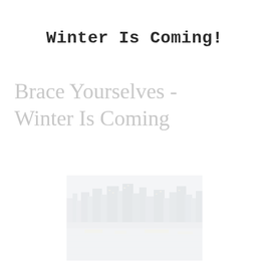Winter Is Coming!
Brace Yourselves - Winter Is Coming
[Figure (photo): Faded/washed-out city skyline at dusk reflected in water, with illuminated buildings and a dusky sky, rendered at low opacity on white background]